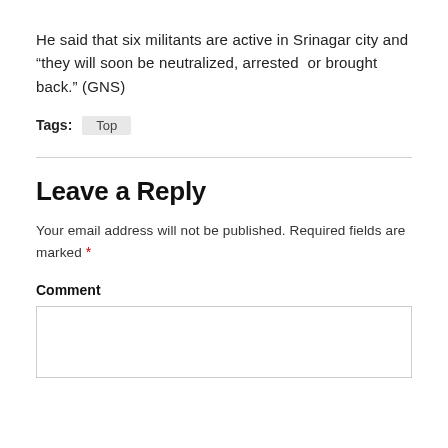He said that six militants are active in Srinagar city and “they will soon be neutralized, arrested  or brought back.” (GNS)
Tags:  Top
Leave a Reply
Your email address will not be published. Required fields are marked *
Comment